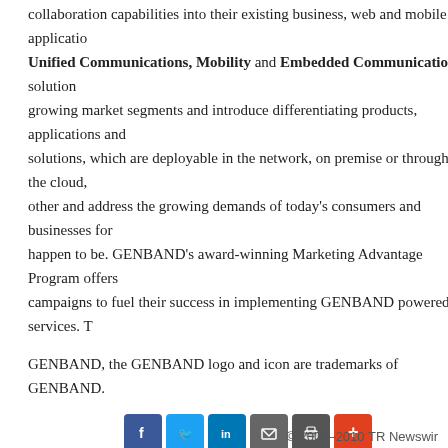collaboration capabilities into their existing business, web and mobile applications. Unified Communications, Mobility and Embedded Communications solutions, growing market segments and introduce differentiating products, applications and solutions, which are deployable in the network, on premise or through the cloud, other and address the growing demands of today's consumers and businesses for happen to be. GENBAND's award-winning Marketing Advantage Program offers campaigns to fuel their success in implementing GENBAND powered services. T
GENBAND, the GENBAND logo and icon are trademarks of GENBAND.
[Figure (other): Social sharing icons: Facebook (blue), Twitter (light blue), LinkedIn (blue), Email (gray), Print (dark gray), Plus/More (orange-red)]
PR Archives: Latest, By Company, By Date
Latest: Nokia and SK C&C deploy managed SD-WAN to accelerate group wide c
Previous: Disclaimer
Next: GENBAND's Jeremy Fuller Appointed to Chair ETSI's Interfaces and Arc Virtualization Working Group
© 2008–2010 TR Newswir